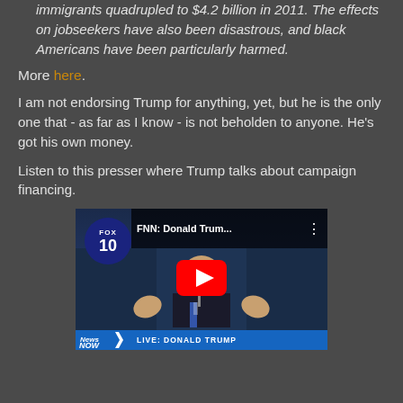immigrants quadrupled to $4.2 billion in 2011. The effects on jobseekers have also been disastrous, and black Americans have been particularly harmed.
More here.
I am not endorsing Trump for anything, yet, but he is the only one that - as far as I know - is not beholden to anyone. He's got his own money.
Listen to this presser where Trump talks about campaign financing.
[Figure (screenshot): YouTube video thumbnail showing Fox 10 News video titled 'FNN: Donald Trum...' with a play button overlay. Shows a person at a podium with hands raised. Lower bar reads 'NEWS NOW LIVE: DONALD TRUMP' on blue background.]